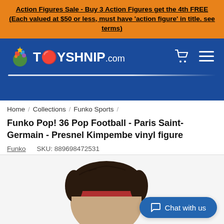Action Figures Sale - Buy 3 Action Figures get the 4th FREE (Each valued at $50 or less, must have 'action figure' in title. see terms)
[Figure (logo): Toyshnip.com logo on blue navigation header with shopping cart and hamburger menu icons]
Home / Collections / Funko Sports /
Funko Pop! 36 Pop Football - Paris Saint-Germain - Presnel Kimpembe vinyl figure
Funko   SKU: 889698472531
[Figure (photo): Top portion of a Funko Pop vinyl figure of Presnel Kimpembe showing the head with dark textured hair and red headband against a light grey background. A blue 'Chat with us' button overlay appears in the lower right.]